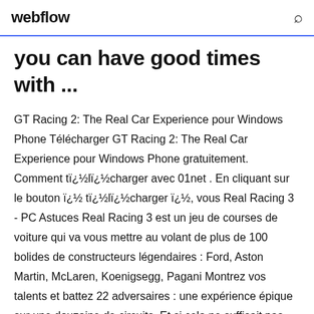webflow
you can have good times with ...
GT Racing 2: The Real Car Experience pour Windows Phone Télécharger GT Racing 2: The Real Car Experience pour Windows Phone gratuitement. Comment tï¿½lï¿½charger avec 01net . En cliquant sur le bouton ï¿½ tï¿½lï¿½charger ï¿½, vous Real Racing 3 - PC Astuces Real Racing 3 est un jeu de courses de voiture qui va vous mettre au volant de plus de 100 bolides de constructeurs légendaires : Ford, Aston Martin, McLaren, Koenigsegg, Pagani Montrez vos talents et battez 22 adversaires : une expérience épique sur une douzaine de circuits. Et si cela ne suffisait pas.